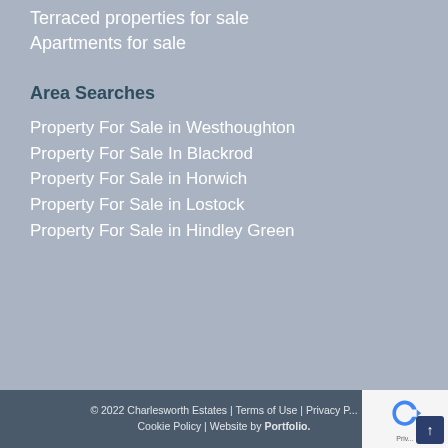Terraced properties for sale
Apartments for sale
Area Searches
Property For Sale in Westhoughton
Property For Sale In Blackrod
Property For Sale in Horwich
Property For Sale in Lostock
Property For Sale in Hindley Green
© 2022 Charlesworth Estates | Terms of Use | Privacy P... | Cookie Policy | Website by Portfolio.